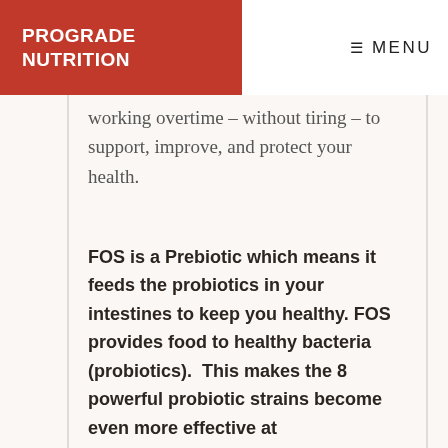PROGRADE NUTRITION | MENU
working overtime – without tiring – to support, improve, and protect your health.
FOS is a Prebiotic which means it feeds the probiotics in your intestines to keep you healthy. FOS provides food to healthy bacteria (probiotics).  This makes the 8 powerful probiotic strains become even more effective at